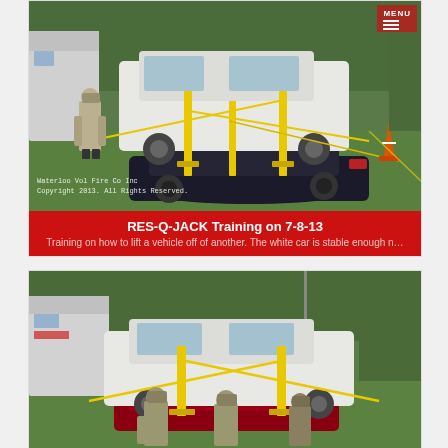[Figure (photo): Firefighters using RES-Q-JACK equipment to lift a white car off a dark/black car at a training exercise on a grass field. Yellow straps and metal jack stands visible. An orange traffic cone is visible. A fire/rescue truck is in the background.]
RES-Q-JACK Training on 7-8-13
Training on how to lift a vehicle off of another. The white car is stable enough n…
[Figure (photo): Firefighters at training event with white car lifted on RES-Q-JACK stands on a grass field. Multiple firefighters in gear visible. Fire/rescue truck in background.]